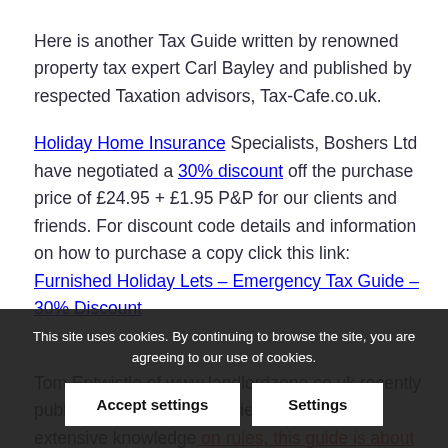Here is another Tax Guide written by renowned property tax expert Carl Bayley and published by respected Taxation advisors, Tax-Cafe.co.uk.
Holiday Home Insurance Specialists, Boshers Ltd have negotiated a 30% discount off the purchase price of £24.95 + £1.95 P&P for our clients and friends. For discount code details and information on how to purchase a copy click this link: Furnished Holiday Lets – Emergency Tax Guide – 30% Discount
Tom Entwistle of www.landlordzone.co.uk recently published the following review: "Given Carl's extensive knowledge on rules, this guide is about as good and Furnished Holiday Lettings taxation…"
This site uses cookies. By continuing to browse the site, you are agreeing to our use of cookies.